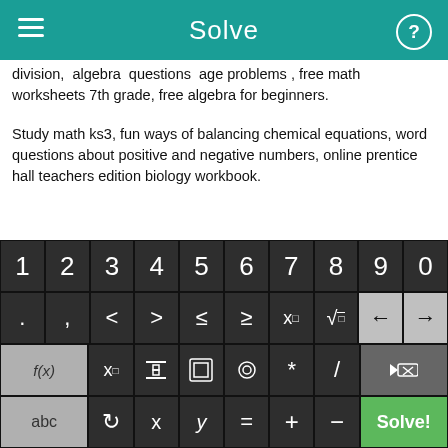Solve
division, algebra questions age problems, free math worksheets 7th grade, free algebra for beginners.
Study math ks3, fun ways of balancing chemical equations, word questions about positive and negative numbers, online prentice hall teachers edition biology workbook.
Linear method of solving second order differential equation, system differential equations matlab, percent in permutations, algrebra solver, TRIVIA ABOUT MATH, fractional exercises in singaporean math, 9th grade algebra practice sheets.
[Figure (screenshot): Mobile math keyboard with numeric row (1-9,0), symbol row (. , < > ≤ ≥ x□ √□ ← →), function row (f(x) x□ fraction absolute-value bracket * / backspace), and bottom row (abc ↺ x y = + - Solve!)]